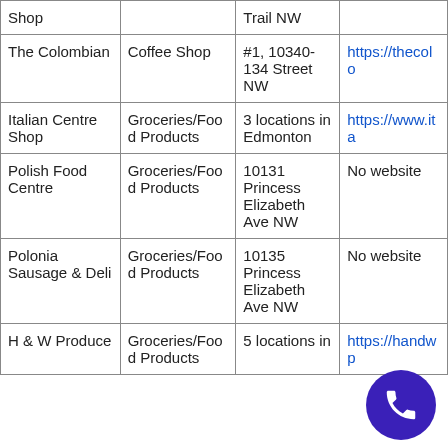| Name | Type | Address | Website |
| --- | --- | --- | --- |
| Shop |  | Trail NW |  |
| The Colombian | Coffee Shop | #1, 10340-134 Street NW | https://thecolo… |
| Italian Centre Shop | Groceries/Food Products | 3 locations in Edmonton | https://www.ita… |
| Polish Food Centre | Groceries/Food Products | 10131 Princess Elizabeth Ave NW | No website |
| Polonia Sausage & Deli | Groceries/Food Products | 10135 Princess Elizabeth Ave NW | No website |
| H & W Produce | Groceries/Food Products | 5 locations in… | https://handw… |